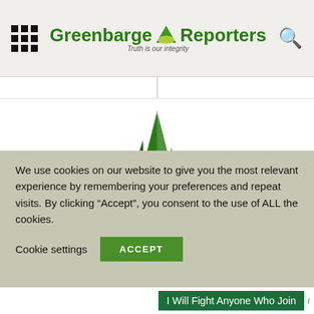[Figure (logo): Greenbarge Reporters website header with grid icon on left, logo with mountain/sailboat SVG in center, search icon on right. Tagline: Truth is our integrity]
[Figure (logo): Greenbarge Reporters sailboat and sun logo icon, green colored, centered on white background]
Greenbarge Reporters
We use cookies on our website to give you the most relevant experience by remembering your preferences and repeat visits. By clicking “Accept”, you consent to the use of ALL the cookies.
Cookie settings   ACCEPT
I Will Fight Anyone Who Join